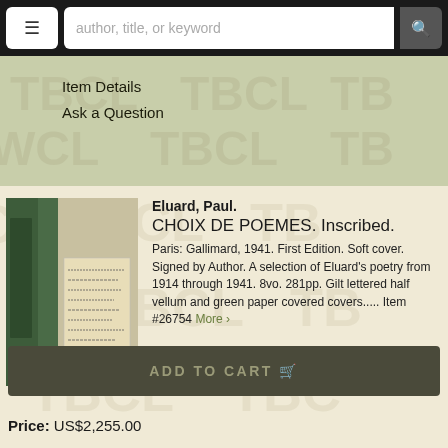author, title, or keyword
Item Details
Ask a Question
[Figure (photo): A book standing upright showing green cloth spine and boards, with a handwritten inscription visible on an attached paper label on the front cover.]
Eluard, Paul.
CHOIX DE POEMES. Inscribed.
Paris: Gallimard, 1941. First Edition. Soft cover. Signed by Author. A selection of Eluard's poetry from 1914 through 1941. 8vo. 281pp. Gilt lettered half vellum and green paper covered covers..... Item #26754 More ›
ADD TO CART
Price: US$2,255.00